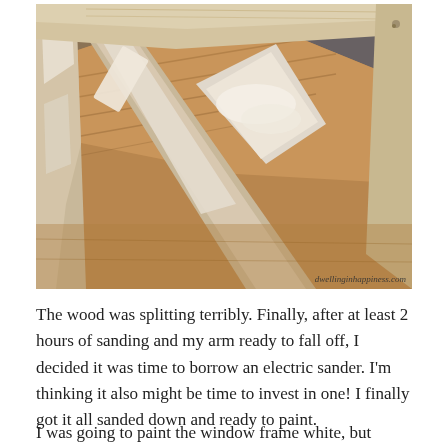[Figure (photo): Close-up photo of a wooden window frame with peeling white paint and splitting wood, placed on a cardboard surface. The frame shows significant wood damage with exposed raw wood grain. Watermark reads 'dwellinginhappiness.com' in bottom right corner.]
The wood was splitting terribly. Finally, after at least 2 hours of sanding and my arm ready to fall off, I decided it was time to borrow an electric sander. I'm thinking it also might be time to invest in one! I finally got it all sanded down and ready to paint.
I was going to paint the window frame white, but thought